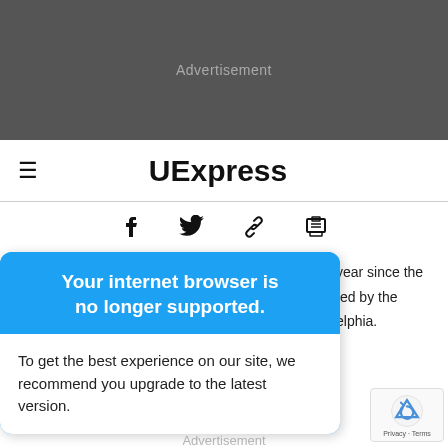[Figure (other): Dark grey advertisement banner area with 'Advertisement' label in grey text]
≡  UExpress
[Figure (other): Social sharing icons: Facebook, Twitter, link/chain, print]
Your internet browser is no longer supported.
To get the best experience on our site, we recommend you upgrade to the latest version.
year since the
ted by the
elphia.
Advertisement